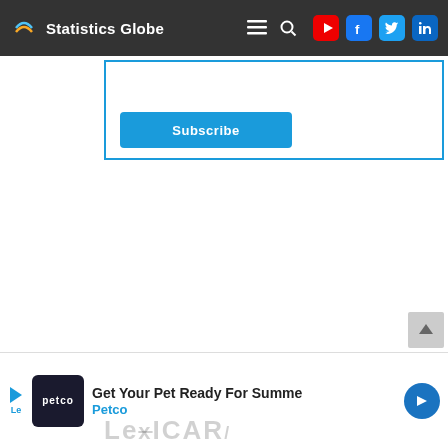Statistics Globe
[Figure (screenshot): Partially visible blue Subscribe button inside a blue-bordered box]
[Figure (infographic): Petco advertisement banner: Get Your Pet Ready For Summer - Petco, with play button, Petco logo, and navigation arrow]